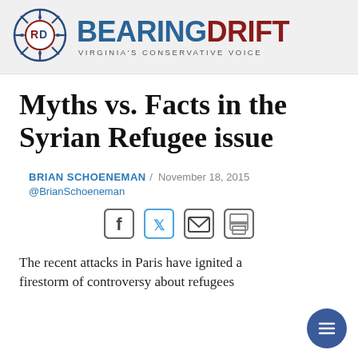BEARINGDRIFT — VIRGINIA'S CONSERVATIVE VOICE
Myths vs. Facts in the Syrian Refugee issue
BRIAN SCHOENEMAN / November 18, 2015
@BrianSchoeneman
[Figure (infographic): Social sharing icons: Facebook, Twitter, Email, Print]
The recent attacks in Paris have ignited a firestorm of controversy about refugees...